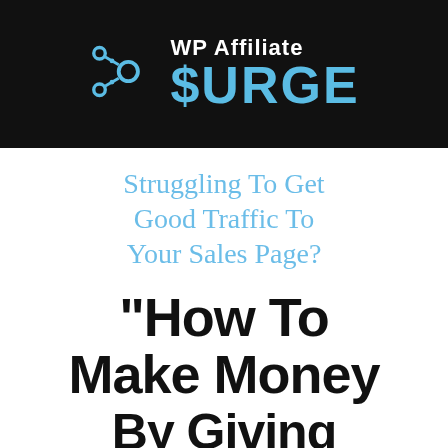[Figure (logo): WP Affiliate Surge logo on black background with network node icon and blue text]
Struggling To Get Good Traffic To Your Sales Page?
"How To Make Money By Giving